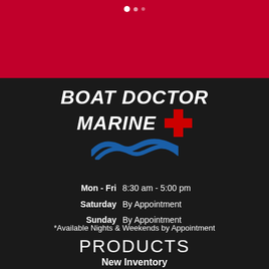[Figure (logo): Boat Doctor Marine logo with italic bold text, blue wave graphic, and red cross symbol on dark background]
Mon - Fri  8:30 am - 5:00 pm
Saturday  By Appointment
Sunday  By Appointment
*Available Nights & Weekends by Appointment
PRODUCTS
New Inventory